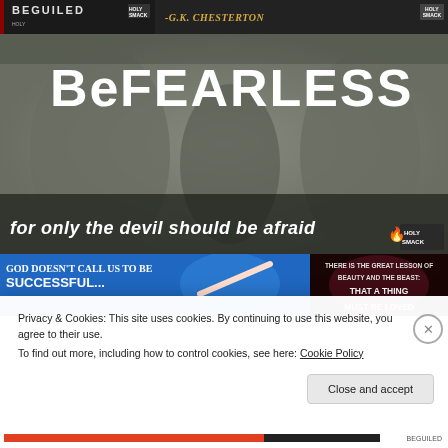[Figure (illustration): Two book/quote images side by side at top: left shows a dark book cover with 'BEGUILED' text and 'HOLY SMACK' badge; right shows dark background with '-G.K. CHESTERTON' attribution and 'HOLY SMACK' badge]
[Figure (illustration): Religious stone sculpture image with text overlay: 'Be FEARLESS' at top in large white block letters, and 'for only the devil should be afraid' at bottom in white italic text with a Holy Smack logo/badge. Shows figures of Jesus and a demon in relief sculpture.]
[Figure (illustration): Bottom left: Blue background with white bold text 'GOD DOESN'T CALL US TO BE SUCCESSFUL...' with a woman in athletic pose]
[Figure (illustration): Bottom right: Dark background with white text 'THERE IS THE GREAT LESSON OF BEAUTY AND THE BEAST: THAT A THING MUST BE LOVED']
Privacy & Cookies: This site uses cookies. By continuing to use this website, you agree to their use.
To find out more, including how to control cookies, see here: Cookie Policy
Close and accept